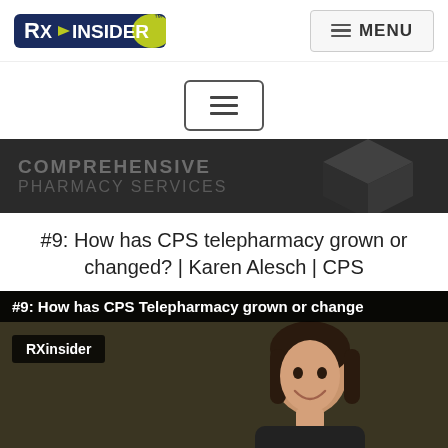RXInsider | MENU
[Figure (other): Secondary hamburger menu button (three horizontal lines) centered on white background]
[Figure (other): Dark banner with COMPREHENSIVE PHARMACY SERVICES text and 3D cube logo partially visible]
#9: How has CPS telepharmacy grown or changed? | Karen Alesch | CPS
[Figure (screenshot): Video thumbnail showing title '#9: How has CPS Telepharmacy grown or changed' with RXinsider badge and a woman smiling on dark background]